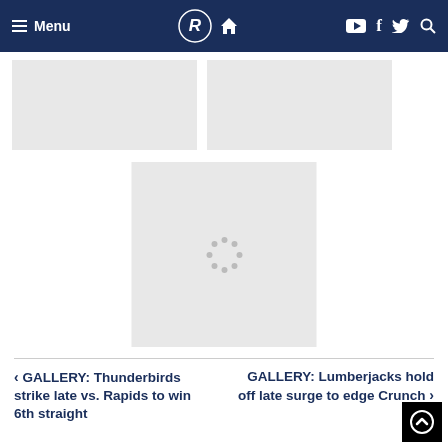Menu | [Logo] | [Home] | [YouTube] [Facebook] [Twitter] [Search]
[Figure (photo): Two image placeholders side by side (loading/blank)]
[Figure (photo): Center image placeholder with loading spinner dots]
< GALLERY: Thunderbirds strike late vs. Rapids to win 6th straight
GALLERY: Lumberjacks hold off late surge to edge Crunch >